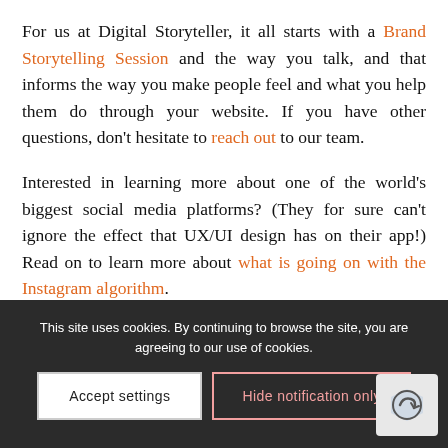For us at Digital Storyteller, it all starts with a Brand Storytelling Session and the way you talk, and that informs the way you make people feel and what you help them do through your website. If you have other questions, don't hesitate to reach out to our team.
Interested in learning more about one of the world's biggest social media platforms? (They for sure can't ignore the effect that UX/UI design has on their app!) Read on to learn more about what is going on with the Instagram algorithm.
This site uses cookies. By continuing to browse the site, you are agreeing to our use of cookies.